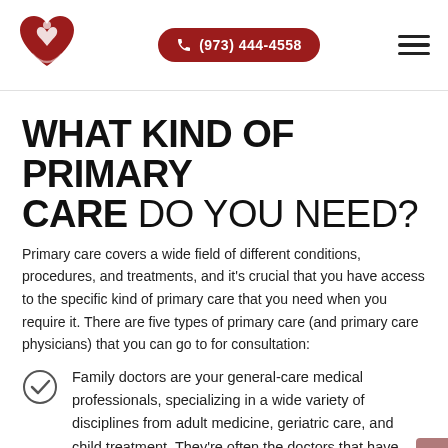[Figure (logo): Medical logo with red heart and person silhouette]
(973) 444-4558
WHAT KIND OF PRIMARY CARE DO YOU NEED?
Primary care covers a wide field of different conditions, procedures, and treatments, and it's crucial that you have access to the specific kind of primary care that you need when you require it. There are five types of primary care (and primary care physicians) that you can go to for consultation:
Family doctors are your general-care medical professionals, specializing in a wide variety of disciplines from adult medicine, geriatric care, and child treatment. They're often the doctors that have your